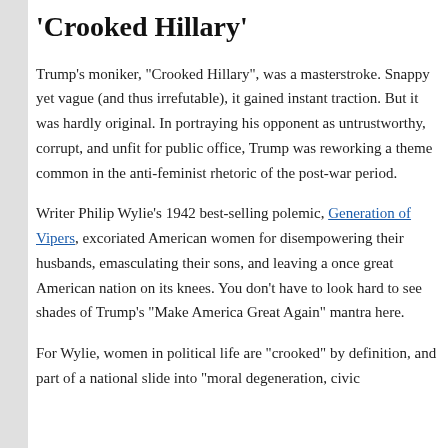‘Crooked Hillary’
Trump’s moniker, “Crooked Hillary”, was a masterstroke. Snappy yet vague (and thus irrefutable), it gained instant traction. But it was hardly original. In portraying his opponent as untrustworthy, corrupt, and unfit for public office, Trump was reworking a theme common in the anti-feminist rhetoric of the post-war period.
Writer Philip Wylie’s 1942 best-selling polemic, Generation of Vipers, excoriated American women for disempowering their husbands, emasculating their sons, and leaving a once great American nation on its knees. You don’t have to look hard to see shades of Trump’s “Make America Great Again” mantra here.
For Wylie, women in political life are “crooked” by definition, and part of a national slide into “moral degeneration, civic...